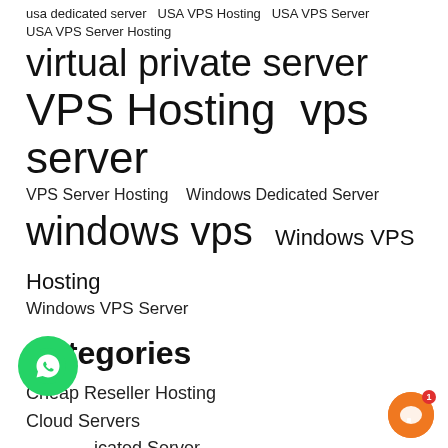usa dedicated server   USA VPS Hosting   USA VPS Server   USA VPS Server Hosting
virtual private server
VPS Hosting   vps server
VPS Server Hosting   Windows Dedicated Server
windows vps   Windows VPS Hosting
Windows VPS Server
Categories
Cheap Reseller Hosting
Cloud Servers
Dedicated Server
Domain Registration